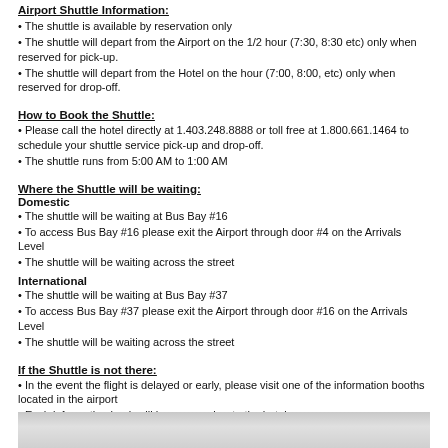Airport Shuttle Information:
• The shuttle is available by reservation only
• The shuttle will depart from the Airport on the 1/2 hour (7:30, 8:30 etc) only when reserved for pick-up.
• The shuttle will depart from the Hotel on the hour (7:00, 8:00, etc) only when reserved for drop-off.
How to Book the Shuttle:
• Please call the hotel directly at 1.403.248.8888 or toll free at 1.800.661.1464 to schedule your shuttle service pick-up and drop-off.
• The shuttle runs from 5:00 AM to 1:00 AM
Where the Shuttle will be waiting:
Domestic
• The shuttle will be waiting at Bus Bay #16
• To access Bus Bay #16 please exit the Airport through door #4 on the Arrivals Level
• The shuttle will be waiting across the street
International
• The shuttle will be waiting at Bus Bay #37
• To access Bus Bay #37 please exit the Airport through door #16 on the Arrivals Level
• The shuttle will be waiting across the street
If the Shuttle is not there:
• In the event the flight is delayed or early, please visit one of the information booths located in the airport
• Each information book will have a number to the hotel
[Figure (photo): Partial view of a silver/grey metallic surface or vehicle, cropped at the bottom of the page.]